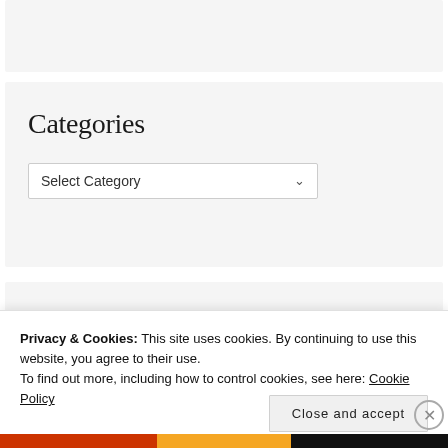Categories
Select Category
Most Wanted
autodisciplina
Privacy & Cookies: This site uses cookies. By continuing to use this website, you agree to their use.
To find out more, including how to control cookies, see here: Cookie Policy
Close and accept